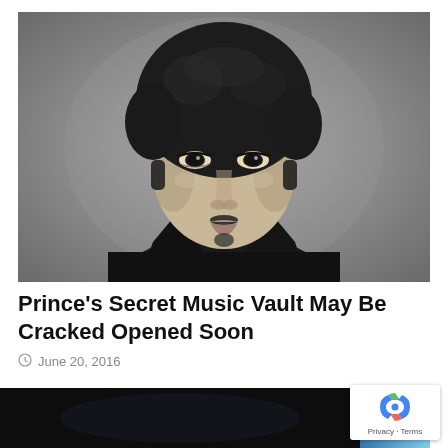[Figure (photo): Black and white portrait photo of Prince with afro hairstyle, wearing a dark jacket with wide lapels, looking directly at camera]
Prince's Secret Music Vault May Be Cracked Opened Soon
June 20, 2016
[Figure (photo): Partially visible dark image at bottom of page with a blue element on the right side]
[Figure (other): reCAPTCHA badge with Privacy and Terms links]